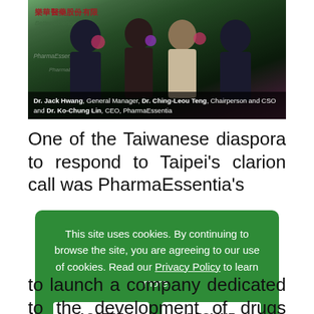[Figure (photo): Group photo of PharmaEssentia executives at an event with a banner showing Chinese characters and the text 'Better Science, Bette...' with PharmaEssentia branding. Caption identifies Dr. Jack Hwang, General Manager, Dr. Ching-Leou Teng, Chairperson and CSO, and Dr. Ko-Chung Lin, CEO, PharmaEssentia.]
Dr. Jack Hwang, General Manager, Dr. Ching-Leou Teng, Chairperson and CSO and Dr. Ko-Chung Lin, CEO, PharmaEssentia
One of the Taiwanese diaspora to respond to Taipei’s clarion call was PharmaEssentia’s
This site uses cookies. By continuing to browse the site, you are agreeing to our use of cookies. Read our Privacy Policy to learn more.
to launch a company dedicated to the development of drugs designed to treat